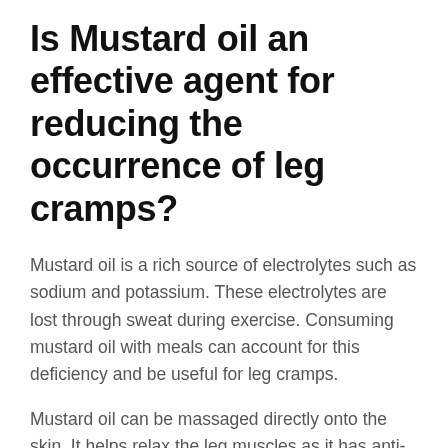Is Mustard oil an effective agent for reducing the occurrence of leg cramps?
Mustard oil is a rich source of electrolytes such as sodium and potassium. These electrolytes are lost through sweat during exercise. Consuming mustard oil with meals can account for this deficiency and be useful for leg cramps.
Mustard oil can be massaged directly onto the skin. It helps relax the leg muscles as it has anti-inflammatory and soothing properties.
Most recent studies have suggested that mustard oil may help